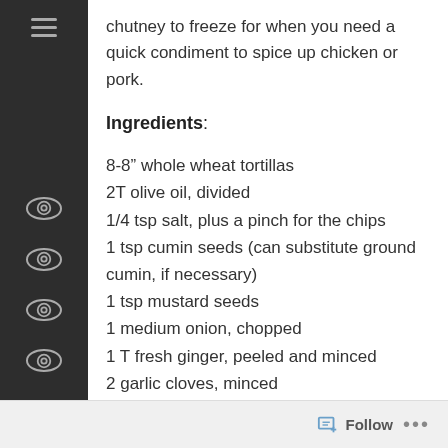chutney to freeze for when you need a quick condiment to spice up chicken or pork.
Ingredients:
8-8” whole wheat tortillas
2T olive oil, divided
1/4 tsp salt, plus a pinch for the chips
1 tsp cumin seeds (can substitute ground cumin, if necessary)
1 tsp mustard seeds
1 medium onion, chopped
1 T fresh ginger, peeled and minced
2 garlic cloves, minced
1 jalapeño pepper, chopped (removed seeds to